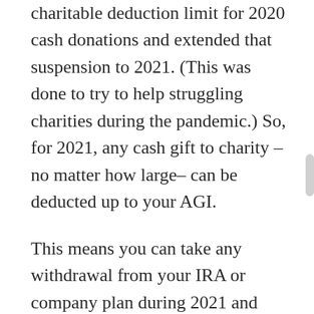charitable deduction limit for 2020 cash donations and extended that suspension to 2021. (This was done to try to help struggling charities during the pandemic.) So, for 2021, any cash gift to charity – no matter how large– can be deducted up to your AGI.
This means you can take any withdrawal from your IRA or company plan during 2021 and turn around and donate that same amount to charity. The distribution